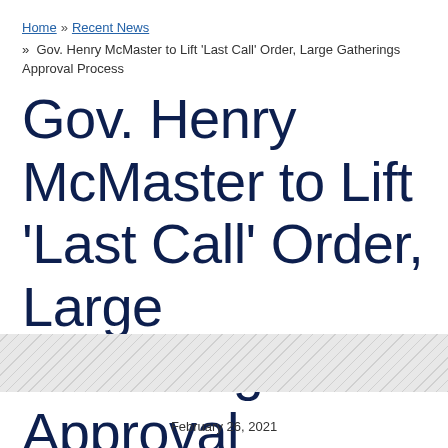Home » Recent News » Gov. Henry McMaster to Lift 'Last Call' Order, Large Gatherings Approval Process
Gov. Henry McMaster to Lift 'Last Call' Order, Large Gatherings Approval Process
February 26, 2021